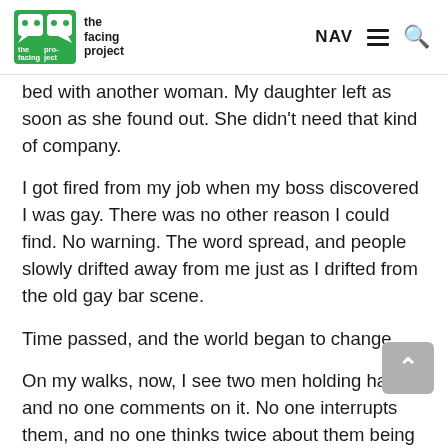the facing project — NAV [hamburger] [search]
...bed with another woman. My daughter left as soon as she found out. She didn't need that kind of company.
I got fired from my job when my boss discovered I was gay. There was no other reason I could find. No warning. The word spread, and people slowly drifted away from me just as I drifted from the old gay bar scene.
Time passed, and the world began to change.
On my walks, now, I see two men holding hands, and no one comments on it. No one interrupts them, and no one thinks twice about them being there enjoying each other's company.
That's so encouraging to see. When people don't see